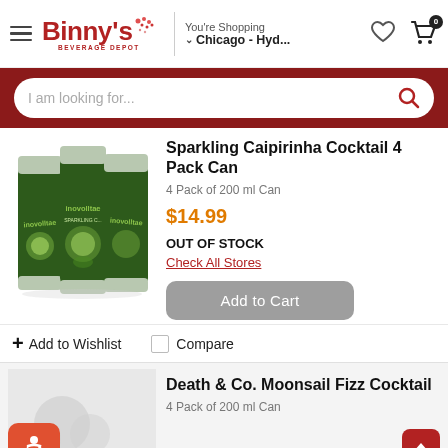Binny's Beverage Depot — You're Shopping Chicago - Hyd...
I am looking for...
Sparkling Caipirinha Cocktail 4 Pack Can
4 Pack of 200 ml Can
$14.99
OUT OF STOCK
Check All Stores
Add to Cart
+ Add to Wishlist
Compare
[Figure (photo): Three green cans of Inovoltae Sparkling Caipirinha Cocktail]
Death & Co. Moonsail Fizz Cocktail
4 Pack of 200 ml Can
[Figure (photo): Product image placeholder for Death & Co. Moonsail Fizz Cocktail]